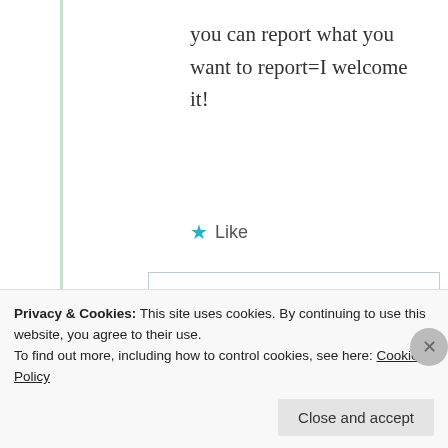you can report what you want to report=I welcome it!
★ Like
Suma Reddy
11th Jul 2021 at 7:57 am
Privacy & Cookies: This site uses cookies. By continuing to use this website, you agree to their use.
To find out more, including how to control cookies, see here: Cookie Policy
Close and accept